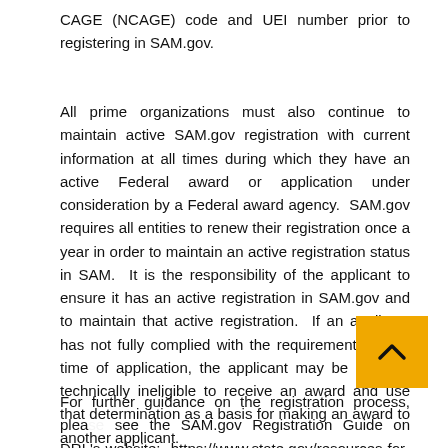CAGE (NCAGE) code and UEI number prior to registering in SAM.gov.
All prime organizations must also continue to maintain active SAM.gov registration with current information at all times during which they have an active Federal award or application under consideration by a Federal award agency.  SAM.gov requires all entities to renew their registration once a year in order to maintain an active registration status in SAM.  It is the responsibility of the applicant to ensure it has an active registration in SAM.gov and to maintain that active registration.  If an applicant has not fully complied with the requirements at the time of application, the applicant may be deemed technically ineligible to receive an award and use that determination as a basis for making an award to another applicant.
For further guidance on the registration process, please see the SAM.gov Registration Guide on DRL's website:  https://www.state.gov/resources-for-programs